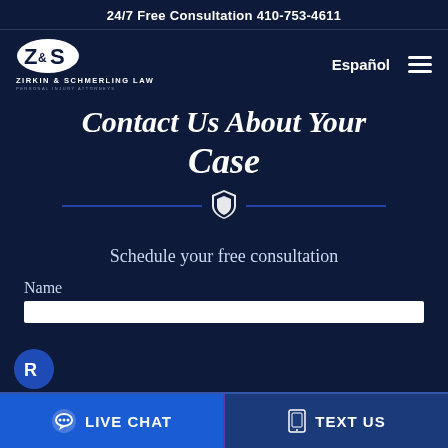24/7 Free Consultation 410-753-4611
[Figure (logo): Zirkin & Schmerling Law logo - white oval with Z&S initials, text ZIRKIN & SCHMERLING LAW, PERSONAL INJURY ATTORNEYS]
Español
Contact Us About Your Case
Schedule your free consultation
Name
LIVE CHAT   TEXT US